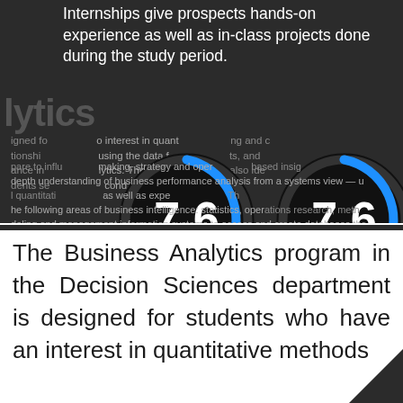Internships give prospects hands-on experience as well as in-class projects done during the study period.
[Figure (infographic): Two circular gauge/donut charts side by side. Left gauge shows '7.6' labeled 'EDITOR RATING'. Right gauge shows '7.6' labeled 'AGGREGATED USER RATING 3 RATINGS'. Both gauges are dark circles with a blue arc indicating the rating level.]
The Business Analytics program in the Decision Sciences department is designed for students who have an interest in quantitative methods